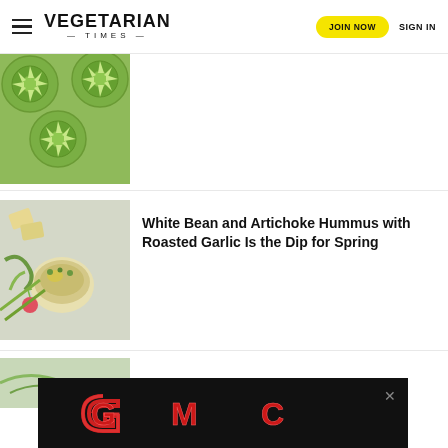VEGETARIAN TIMES | JOIN NOW | SIGN IN
[Figure (photo): Cross-section of artichoke or green vegetable slices arranged in a flat lay, green tones]
White Bean and Artichoke Hummus with Roasted Garlic Is the Dip for Spring
[Figure (photo): Top-down food photography of a hummus dip bowl surrounded by green vegetables, crackers, and garnishes on a light background]
Vegan Lemon and Asparagus Pasta
[Figure (logo): GMC logo advertisement banner on black background with red and chrome lettering, close button X in corner]